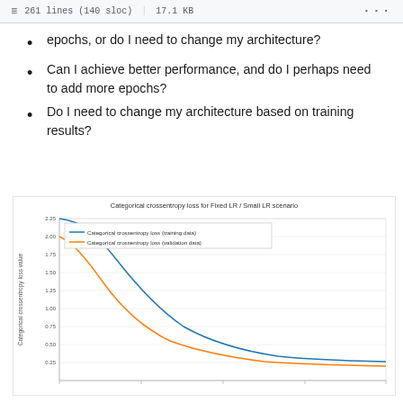261 lines (140 sloc) | 17.1 KB
epochs, or do I need to change my architecture?
Can I achieve better performance, and do I perhaps need to add more epochs?
Do I need to change my architecture based on training results?
[Figure (line-chart): Two curves showing categorical crossentropy loss decreasing over epochs. Training data (blue) starts near 2.25 and decreases to ~0.25. Validation data (orange) starts near 2.0 and decreases faster to ~0.20, both converging at low values.]